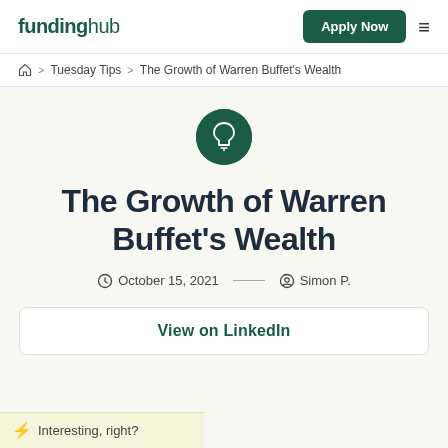fundinghub | Apply Now
Home > Tuesday Tips > The Growth of Warren Buffet's Wealth
[Figure (logo): Dark green circular badge with a lightbulb icon]
The Growth of Warren Buffet's Wealth
October 15, 2021 — Simon P.
View on LinkedIn
Interesting, right?